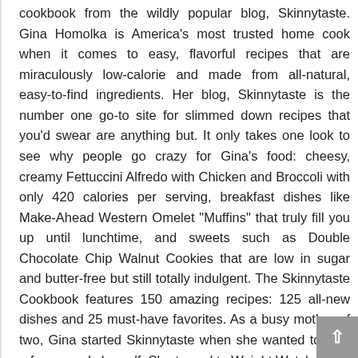cookbook from the wildly popular blog, Skinnytaste. Gina Homolka is America's most trusted home cook when it comes to easy, flavorful recipes that are miraculously low-calorie and made from all-natural, easy-to-find ingredients. Her blog, Skinnytaste is the number one go-to site for slimmed down recipes that you'd swear are anything but. It only takes one look to see why people go crazy for Gina's food: cheesy, creamy Fettuccini Alfredo with Chicken and Broccoli with only 420 calories per serving, breakfast dishes like Make-Ahead Western Omelet "Muffins" that truly fill you up until lunchtime, and sweets such as Double Chocolate Chip Walnut Cookies that are low in sugar and butter-free but still totally indulgent. The Skinnytaste Cookbook features 150 amazing recipes: 125 all-new dishes and 25 must-have favorites. As a busy mother of two, Gina started Skinnytaste when she wanted to lose a few pounds herself. She turned to Weight Watchers for help and liked the program but struggled to find